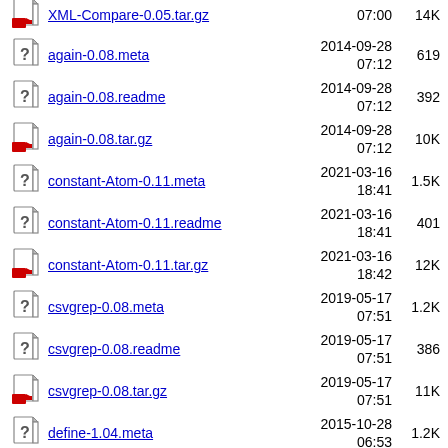XML-Compare-0.05.tar.gz  07:00  14K
again-0.08.meta  2014-09-28 07:12  619
again-0.08.readme  2014-09-28 07:12  392
again-0.08.tar.gz  2014-09-28 07:12  10K
constant-Atom-0.11.meta  2021-03-16 18:41  1.5K
constant-Atom-0.11.readme  2021-03-16 18:41  401
constant-Atom-0.11.tar.gz  2021-03-16 18:42  12K
csvgrep-0.08.meta  2019-05-17 07:51  1.2K
csvgrep-0.08.readme  2019-05-17 07:51  386
csvgrep-0.08.tar.gz  2019-05-17 07:51  11K
define-1.04.meta  2015-10-28 06:53  1.2K
define-1.04.readme  2015-10-28 06:53  370